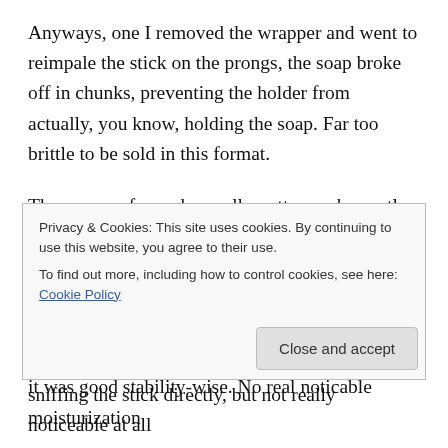Anyways, one I removed the wrapper and went to reimpale the stick on the prongs, the soap broke off in chunks, preventing the holder from actually, you know, holding the soap. Far too brittle to be sold in this format.
The soap performed… well, pretty much exactly like the Derby shaving stick that I reviewed a while back. Good balance of glide and thickness once you dial in the right amount of water to use (not too much, be careful of adding too much between passes, not too little). A bit finnicky, but it was good stability-wise. No real noticable moisturization
Privacy & Cookies: This site uses cookies. By continuing to use this website, you agree to their use.
To find out more, including how to control cookies, see here: Cookie Policy
Close and accept
sniffing the stick directly, but not really noticeable at all